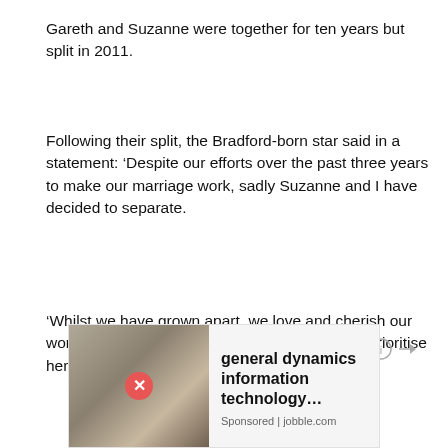Gareth and Suzanne were together for ten years but split in 2011.
Following their split, the Bradford-born star said in a statement: ‘Despite our efforts over the past three years to make our marriage work, sadly Suzanne and I have decided to separate.
‘Whilst we have grown apart, we love and cherish our wonderful daughter Missy and together we will prioritise her happy upbringing’.
[Figure (screenshot): Advertisement banner showing an office scene image on the left with a close button, and text reading 'general dynamics information technology...' with 'Sponsored | jobble.com' below]